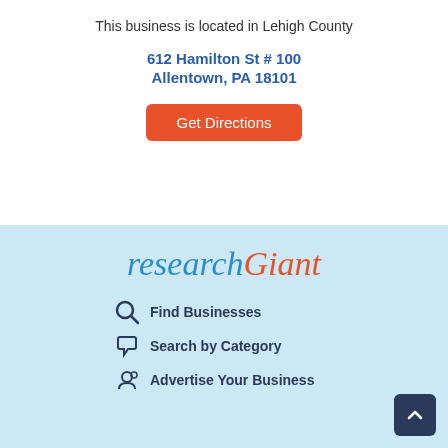This business is located in Lehigh County
612 Hamilton St # 100
Allentown, PA 18101
[Figure (other): Get Directions orange button]
[Figure (logo): researchGiant logo — 'research' in italic blue, 'Giant' in orange]
Find Businesses
Search by Category
Advertise Your Business